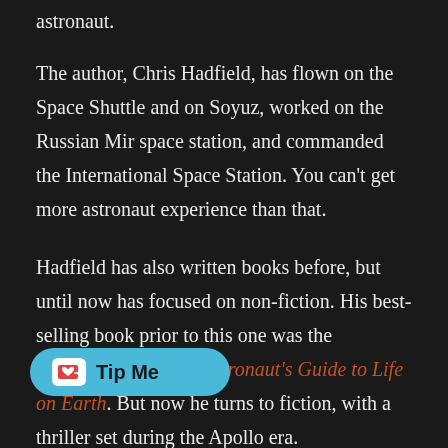astronaut.
The author, Chris Hadfield, has flown on the Space Shuttle and on Soyuz, worked on the Russian Mir space station, and commanded the International Space Station. You can't get more astronaut experience than that.
Hadfield has also written books before, but until now has focused on non-fiction. His best-selling book prior to this one was the autobiographical An Astronaut's Guide to Life on Earth. But now he turns to fiction, with a thriller set during the Apollo era.
In the podcast, regulars Colin and Phil are joined by Peter Kuskie to review the book. In an earlier episode Peter had sent in a fiendish quiz which he hoped would stump Colin. [His] appearance this time is a chance for Colin to turn the tables, with a Jeopardy-inspired quiz.